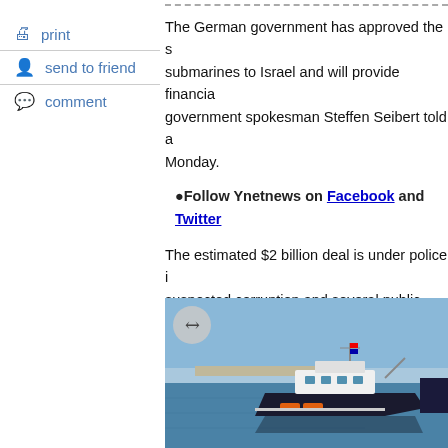print
send to friend
comment
The German government has approved the sale of submarines to Israel and will provide financial support, government spokesman Steffen Seibert told a press conference Monday.
●Follow Ynetnews on Facebook and Twitter
The estimated $2 billion deal is under police investigation for suspected corruption and several public officials have been questioned in the case.
The 2016 deal has been under public scrutiny after Prime Minister Benjamin Netanyahu's personal lawyer reportedly represented Thyssenkrup Marine System's local agent raising concerns of a conflict of interest.
[Figure (photo): Harbor scene with a tugboat/vessel docked at a port, blue sky and calm water visible]